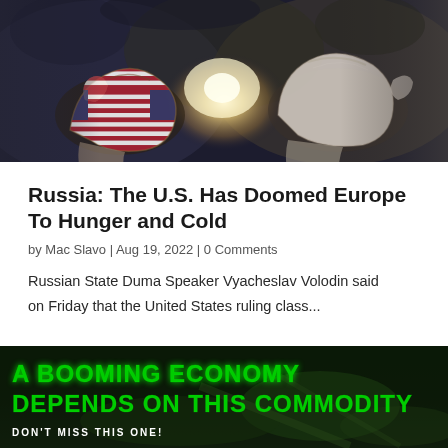[Figure (photo): Two fists bumping — left fist decorated with the American flag, right fist with a plain/Russian flag design, against a dramatic smoky background with bright light at the center]
Russia: The U.S. Has Doomed Europe To Hunger and Cold
by Mac Slavo | Aug 19, 2022 | 0 Comments
Russian State Duma Speaker Vyacheslav Volodin said on Friday that the United States ruling class...
[Figure (infographic): Advertisement banner with green bold text on dark background reading: A BOOMING ECONOMY DEPENDS ON THIS COMMODITY. DON'T MISS THIS ONE!]